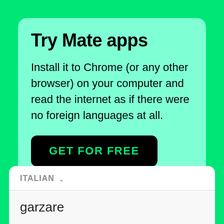Try Mate apps
Install it to Chrome (or any other browser) on your computer and read the internet as if there were no foreign languages at all.
GET FOR FREE
ITALIAN
garzare